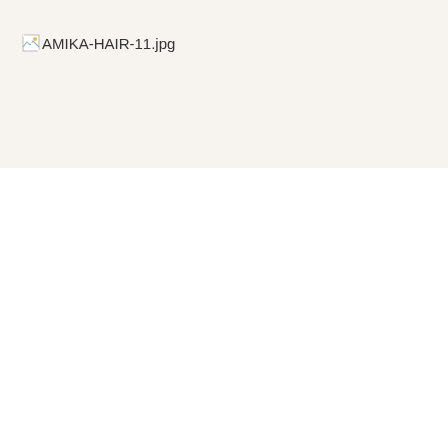[Figure (photo): Broken image placeholder showing 'AMIKA-HAIR-11.jpg' — a small broken image icon followed by the filename text, displayed on a warm off-white background in the upper portion of the page.]